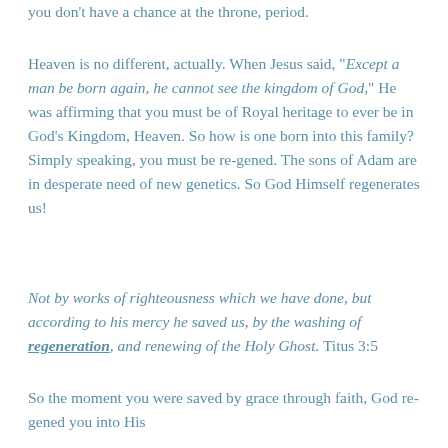you don't have a chance at the throne, period.
Heaven is no different, actually. When Jesus said, "Except a man be born again, he cannot see the kingdom of God," He was affirming that you must be of Royal heritage to ever be in God's Kingdom, Heaven. So how is one born into this family? Simply speaking, you must be re-gened. The sons of Adam are in desperate need of new genetics. So God Himself regenerates us!
Not by works of righteousness which we have done, but according to his mercy he saved us, by the washing of regeneration, and renewing of the Holy Ghost. Titus 3:5
So the moment you were saved by grace through faith, God re-gened you into His